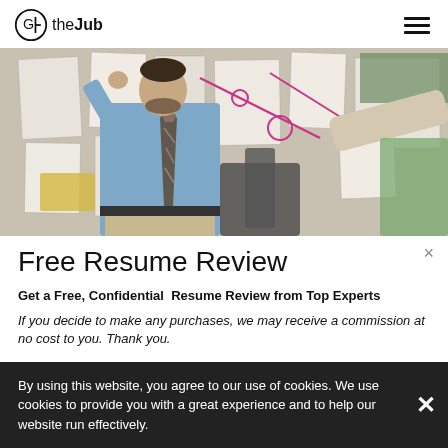(G) theJub
[Figure (photo): A man in a blue shirt and striped tie gesturing near a bulletin board covered in papers, with another person's arm visible in the foreground]
Free Resume Review
Get a Free, Confidential  Resume Review from Top Experts
If you decide to make any purchases, we may receive a commission at no cost to you. Thank you.
By using this website, you agree to our use of cookies. We use cookies to provide you with a great experience and to help our website run effectively.